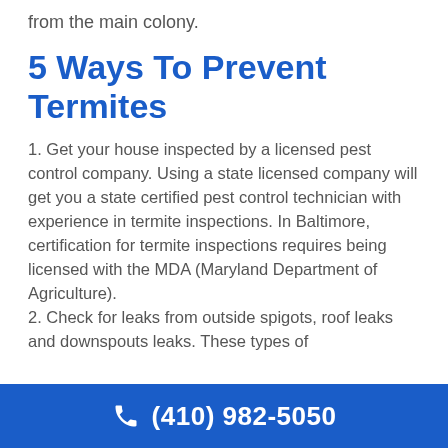from the main colony.
5 Ways To Prevent Termites
1. Get your house inspected by a licensed pest control company. Using a state licensed company will get you a state certified pest control technician with experience in termite inspections. In Baltimore, certification for termite inspections requires being licensed with the MDA (Maryland Department of Agriculture).
2. Check for leaks from outside spigots, roof leaks and downspouts leaks. These types of
(410) 982-5050